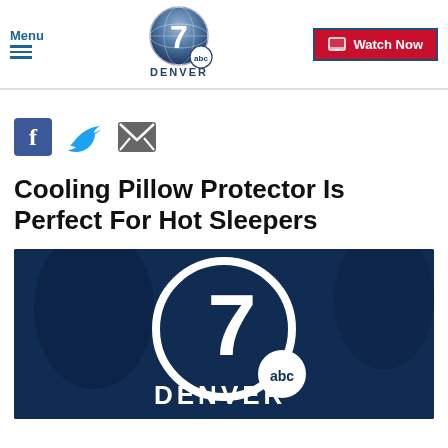Menu | Denver 7 ABC | Watch Now
[Figure (logo): Denver 7 ABC News logo - globe with number 7 and abc badge]
[Figure (infographic): Social share icons: Facebook, Twitter, Email]
Cooling Pillow Protector Is Perfect For Hot Sleepers
[Figure (photo): Denver 7 ABC branding image with large 7 in circle logo over dark blue background, DENVER abc text below]